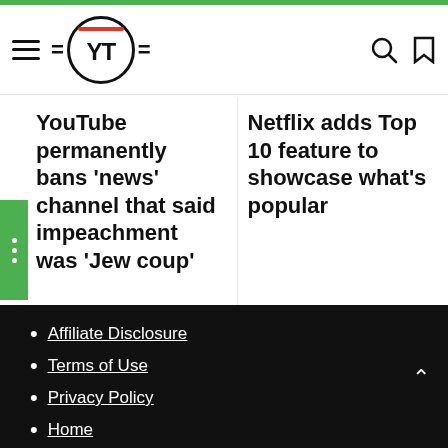YT logo navigation header with hamburger menu, YT logo, search and bookmark icons
YouTube permanently bans ‘news’ channel that said impeachment was ‘Jew coup’
Netflix adds Top 10 feature to showcase what’s popular
Affiliate Disclosure
Terms of Use
Privacy Policy
Home
Home